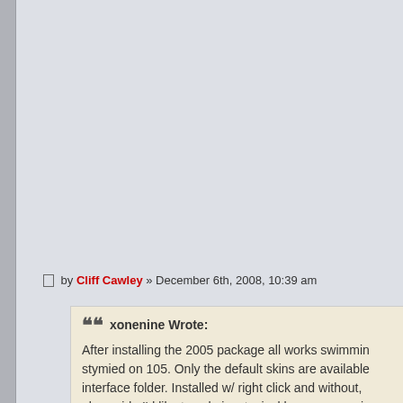by Cliff Cawley » December 6th, 2008, 10:39 am
xonenine Wrote: After installing the 2005 package all works swimmin... stymied on 105. Only the default skins are available... interface folder. Installed w/ right click and without,... else aside I'd like to ask, is a typical home user goir...